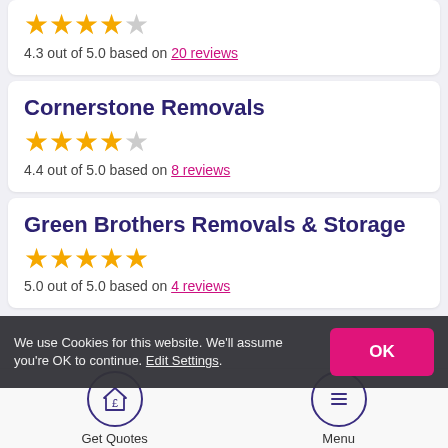South London — 4.3 out of 5.0 based on 20 reviews
Cornerstone Removals — 4.4 out of 5.0 based on 8 reviews
Green Brothers Removals & Storage — 5.0 out of 5.0 based on 4 reviews
We use Cookies for this website. We'll assume you're OK to continue. Edit Settings.
Get Quotes
Menu